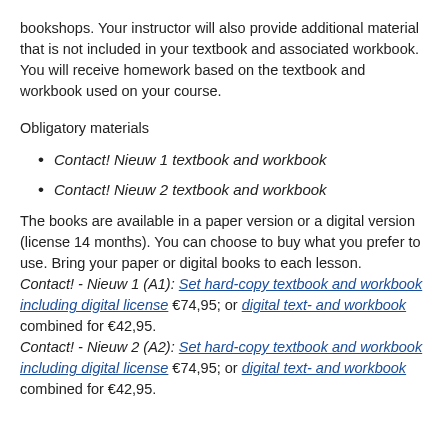bookshops. Your instructor will also provide additional material that is not included in your textbook and associated workbook. You will receive homework based on the textbook and workbook used on your course.
Obligatory materials
Contact! Nieuw 1 textbook and workbook
Contact! Nieuw 2 textbook and workbook
The books are available in a paper version or a digital version (license 14 months). You can choose to buy what you prefer to use. Bring your paper or digital books to each lesson. Contact! - Nieuw 1 (A1): Set hard-copy textbook and workbook including digital license €74,95; or digital text- and workbook combined for €42,95. Contact! - Nieuw 2 (A2): Set hard-copy textbook and workbook including digital license €74,95; or digital text- and workbook combined for €42,95.